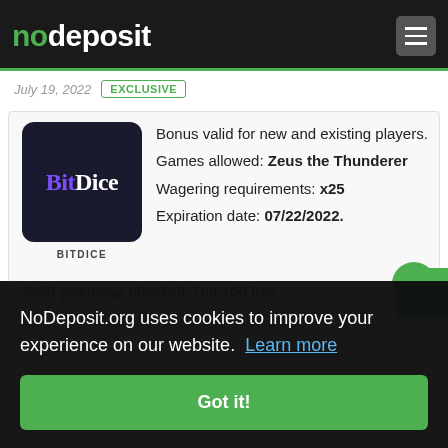100 FREE SPINS TO GRAB FROM
[Figure (logo): nodeposit logo — green 'no' and white 'deposit' text on dark background]
July 19, 2022  EXCLUSIVE
[Figure (logo): BitDice casino logo — dark square with purple B and white Dice text, label BITDICE below]
Bonus valid for new and existing players.
Games allowed: Zeus the Thunderer
Wagering requirements: x25
Expiration date: 07/22/2022.
Solid giveaway, checked. Get 100 free
NoDeposit.org uses cookies to improve your experience on our website.  Learn more
Got it!